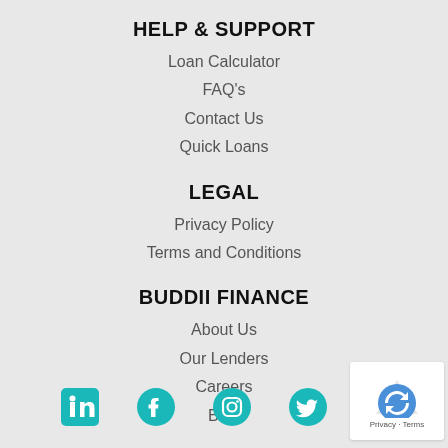HELP & SUPPORT
Loan Calculator
FAQ's
Contact Us
Quick Loans
LEGAL
Privacy Policy
Terms and Conditions
BUDDII FINANCE
About Us
Our Lenders
Careers
Blog
[Figure (infographic): Social media icons: LinkedIn, Facebook, Instagram, Twitter (teal colored)]